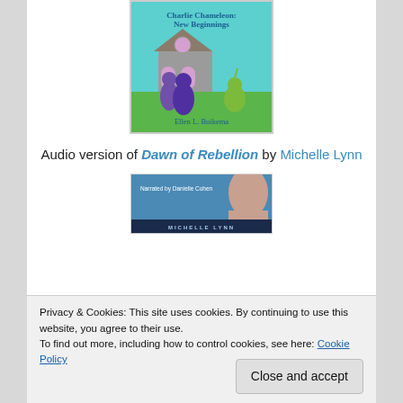[Figure (illustration): Book cover of 'Charlie Chameleon: New Beginnings' by Ellen L. Buikema, showing cartoon chameleon characters in front of a house with a teal/turquoise background]
Audio version of Dawn of Rebellion by Michelle Lynn
[Figure (illustration): Partial book cover of Dawn of Rebellion narrated by Danielle Cohen, showing a person's face against a blue background with text 'Narrated by Danielle Cohen' and 'MICHELLE LYNN' at bottom]
Privacy & Cookies: This site uses cookies. By continuing to use this website, you agree to their use.
To find out more, including how to control cookies, see here: Cookie Policy
Close and accept